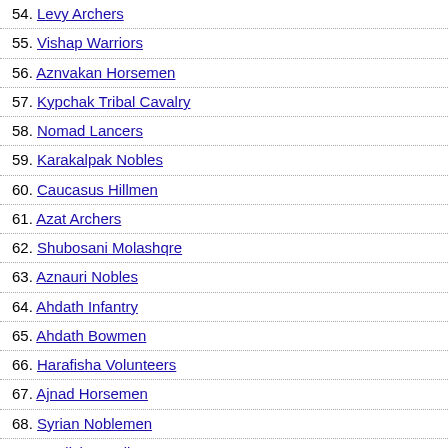54. Levy Archers
55. Vishap Warriors
56. Aznvakan Horsemen
57. Kypchak Tribal Cavalry
58. Nomad Lancers
59. Karakalpak Nobles
60. Caucasus Hillmen
61. Azat Archers
62. Shubosani Molashqre
63. Aznauri Nobles
64. Ahdath Infantry
65. Ahdath Bowmen
66. Harafisha Volunteers
67. Ajnad Horsemen
68. Syrian Noblemen
69. Kurdish Javelinmen
70. Kurdish Swordsmen
71. Kurdish Peshmerga
72. Bedouin Camel Riders
73. Arabian Shiekhs
74. Nuristani Tribesmen
75. Iranian Archers
76. Afghani Hillmen
77. Turko-Persian H...
| # | Image | Name | Description |
| --- | --- | --- | --- |
|  |  |  | A Siege... |
| 2 | [building image] | Siege Works | A Siege... |